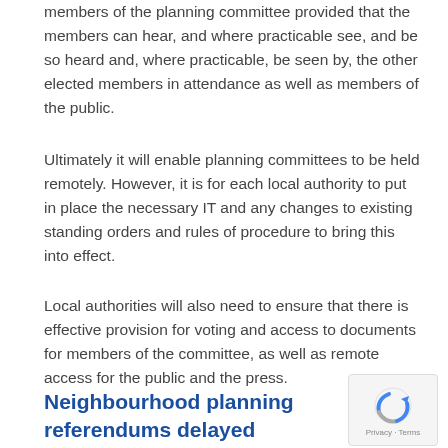members of the planning committee provided that the members can hear, and where practicable see, and be so heard and, where practicable, be seen by, the other elected members in attendance as well as members of the public.
Ultimately it will enable planning committees to be held remotely. However, it is for each local authority to put in place the necessary IT and any changes to existing standing orders and rules of procedure to bring this into effect.
Local authorities will also need to ensure that there is effective provision for voting and access to documents for members of the committee, as well as remote access for the public and the press.
Neighbourhood planning referendums delayed